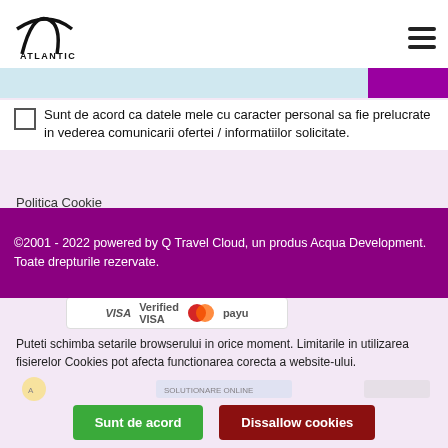[Figure (logo): Atlantic Tourism Company logo - stylized letter A with curved line, text ATLANTIC below]
Sunt de acord ca datele mele cu caracter personal sa fie prelucrate in vederea comunicarii ofertei / informatiilor solicitate.
©2001 - 2022 powered by Q Travel Cloud, un produs Acqua Development. Toate drepturile rezervate.
Politica Cookie
Politica de confidentialitate si protectia datelor
Pentru a se putea accesa website-ul sunt folosite fisiere de tip Cookie. Dorim sa va informam ce astfel de fisiere sunt stocate in website-ul Dvs.
Unica Cookie
[Figure (logo): Payment logos: VISA Verified, MasterCard, PayU]
Puteti schimba setarile browserului in orice moment. Limitarile in utilizarea fisierelor Cookies pot afecta functionarea corecta a website-ului.
[Figure (logo): Partner/certification logos row at bottom]
Sunt de acord
Dissallow cookies